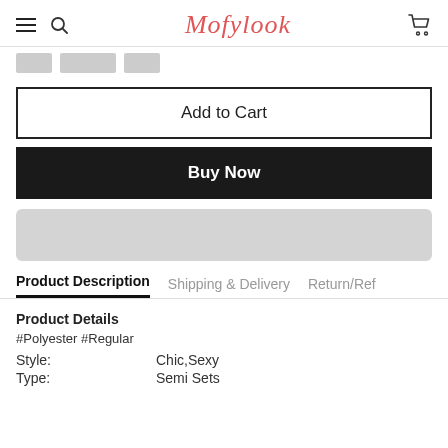Mofylook
Add to Cart
Buy Now
Product Description
Shipping & Delivery
Return/Ref
Product Details
#Polyester #Regular
Style: Chic,Sexy
Type: Semi Sets